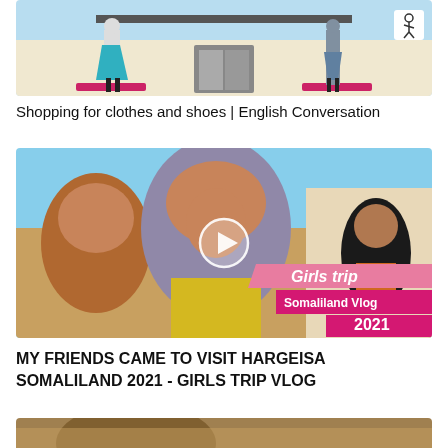[Figure (screenshot): Video thumbnail showing an animated illustration of a clothing store with mannequins wearing teal/turquoise dresses and a small stick figure icon in the corner]
Shopping for clothes and shoes | English Conversation
[Figure (photo): Video thumbnail showing women wearing hijabs smiling outdoors with a play button overlay and text reading 'Girls trip' and 'Somaliland Vlog 2021' on a pink/magenta banner]
MY FRIENDS CAME TO VISIT HARGEISA SOMALILAND 2021 - GIRLS TRIP VLOG
[Figure (photo): Partial video thumbnail showing outdoor scene, partially cropped at bottom of page]